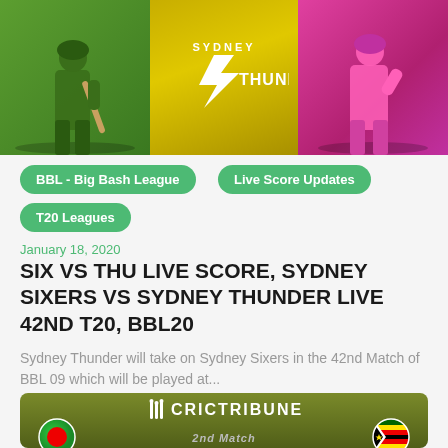[Figure (photo): Composite hero image: cricket player on green background left, Sydney Thunder logo on yellow background center, pink-magenta cricket player silhouette on right]
BBL - Big Bash League
Live Score Updates
T20 Leagues
January 18, 2020
SIX VS THU LIVE SCORE, SYDNEY SIXERS VS SYDNEY THUNDER LIVE 42ND T20, BBL20
Sydney Thunder will take on Sydney Sixers in the 42nd Match of BBL 09 which will be played at...
[Figure (photo): CricTribune card with Bangladesh flag circle on left, Zimbabwe flag circle on right, 2nd Match text in center, olive/dark green background]